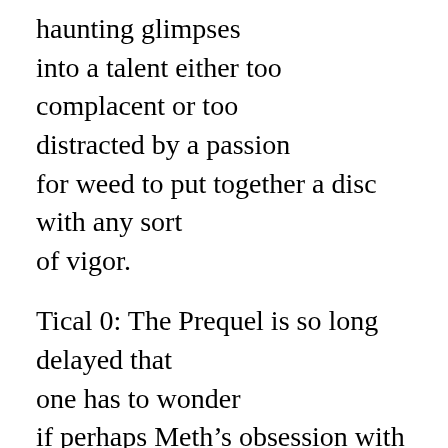haunting glimpses into a talent either too complacent or too distracted by a passion for weed to put together a disc with any sort of vigor.

Tical 0: The Prequel is so long delayed that one has to wonder if perhaps Meth’s obsession with Mary Jane hasn’t thrown him irreparably off course. Swollen with top-shelf guests such as Ludacris, Busta Rhymes and Missy Elliot, Method Man feels more like a visitor than the marquee name. No hooks really catch;